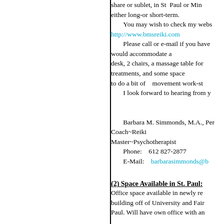share or sublet, in St Paul or Min either long-or short-term.
    You may wish to check my webs http://www.bmsreiki.com
    Please call or e-mail if you have would accommodate a desk, 2 chairs, a massage table for treatments, and some space to do a bit of    movement work-st
    I look forward to hearing from y

    Barbara M. Simmonds, M.A., Per Coach~Reiki Master~Psychotherapist
    Phone:    612 827-2877
    E-Mail:    barbarasimmonds@b
(2) Space Available in St. Paul:
Office space available in newly re building off of University and Fair Paul. Will have own office with an